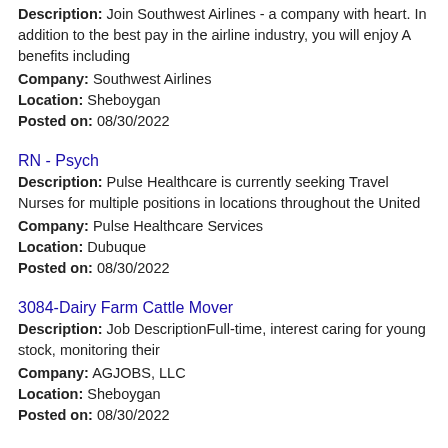Description: Join Southwest Airlines - a company with heart. In addition to the best pay in the airline industry, you will enjoy A benefits including
Company: Southwest Airlines
Location: Sheboygan
Posted on: 08/30/2022
RN - Psych
Description: Pulse Healthcare is currently seeking Travel Nurses for multiple positions in locations throughout the United
Company: Pulse Healthcare Services
Location: Dubuque
Posted on: 08/30/2022
3084-Dairy Farm Cattle Mover
Description: Job DescriptionFull-time, interest caring for young stock, monitoring their
Company: AGJOBS, LLC
Location: Sheboygan
Posted on: 08/30/2022
3051-Dairy Farm Milk Parlor Manager
Description: Job DescriptionNew positon available on a 2300 cow dairy in South Central Wisconsin offering health insurance, 401 k